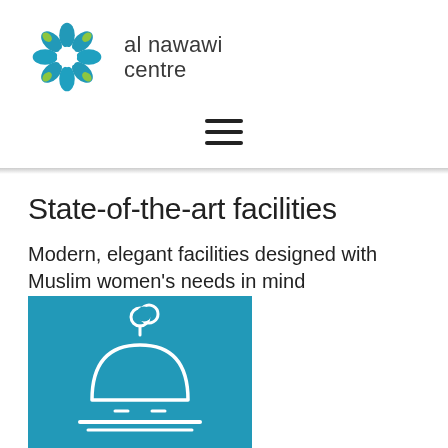[Figure (logo): Al Nawawi Centre logo: decorative circular flower/star shape in teal and green, with text 'al nawawi centre' to the right]
[Figure (other): Hamburger menu icon — three horizontal black lines centered on the page]
State-of-the-art facilities
Modern, elegant facilities designed with Muslim women's needs in mind
[Figure (illustration): Teal square tile with white outline illustration of a mosque dome with crescent on top and a base platform]